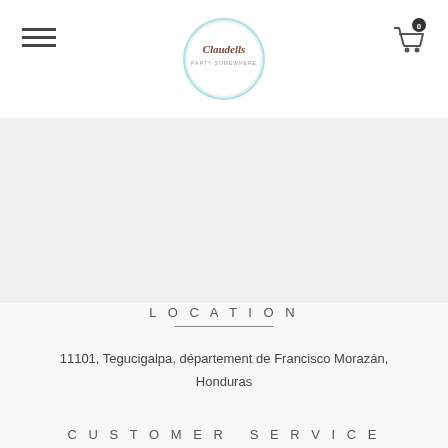Claudells (logo) | hamburger menu | cart (0)
LOCATION
11101, Tegucigalpa, département de Francisco Morazán, Honduras
CUSTOMER SERVICE